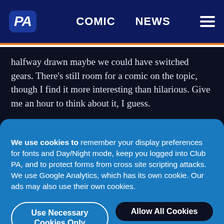PA | COMIC | NEWS
halfway drawn maybe we could have switched gears. There's still room for a comic on the topic, though I find it more interesting than hilarious. Give me an hour to think about it, I guess.

There is nothing more mainstream than Facebook. A piece of technology is not truly mainstream until
We use cookies to remember your display preferences for fonts and Day/Night mode, keep you logged into Club PA, and to protect forms from cross site scripting attacks. We use Google Analytics, which has its own cookie. Our ads may also use their own cookies.
Use Necessary Cookies Only
Allow All Cookies